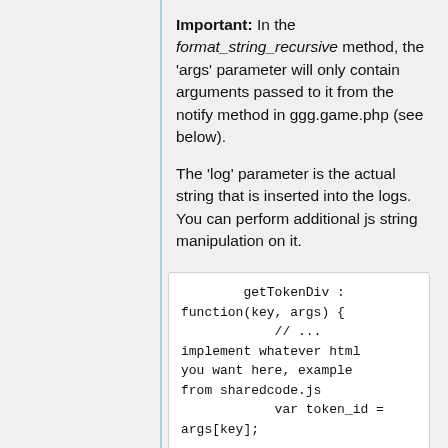Important: In the format_string_recursive method, the 'args' parameter will only contain arguments passed to it from the notify method in ggg.game.php (see below).
The 'log' parameter is the actual string that is inserted into the logs. You can perform additional js string manipulation on it.
[Figure (screenshot): Code block showing getTokenDiv function with key and args parameters, implementing html from sharedcode.js with var token_id = args[key];]